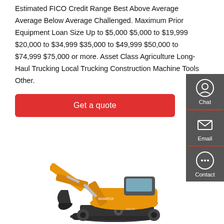Estimated FICO Credit Range Best Above Average Average Below Average Challenged. Maximum Prior Equipment Loan Size Up to $5,000 $5,000 to $19,999 $20,000 to $34,999 $35,000 to $49,999 $50,000 to $74,999 $75,000 or more. Asset Class Agriculture Long-Haul Trucking Local Trucking Construction Machine Tools Other.
[Figure (other): Red 'Get a quote' button]
[Figure (other): Dark sidebar with Chat, Email, and Contact icons]
[Figure (photo): Yellow Shantui excavator/construction machine on white background]